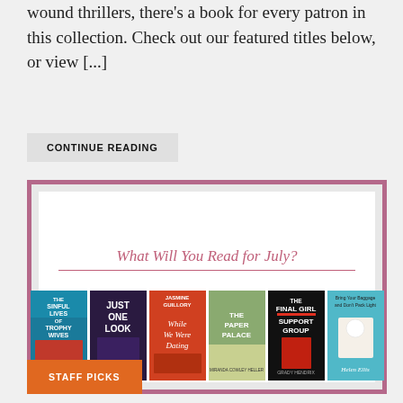wound thrillers, there's a book for every patron in this collection. Check out our featured titles below, or view [...]
CONTINUE READING
[Figure (illustration): A promotional card with a pink/mauve border showing 'What Will You Read for July?' with six book covers displayed in a row: The Sinful Lives of Trophy Wives by Kristin Miller, Just One Look by Loreci Carpenter, While We Were Dating by Jasmine Guillory, The Paper Palace by Miranda Cowley Heller, The Final Girl Support Group by Grady Hendrix, and Don't Bring Baggage and Don't Pack Light by Helen Ellis.]
STAFF PICKS